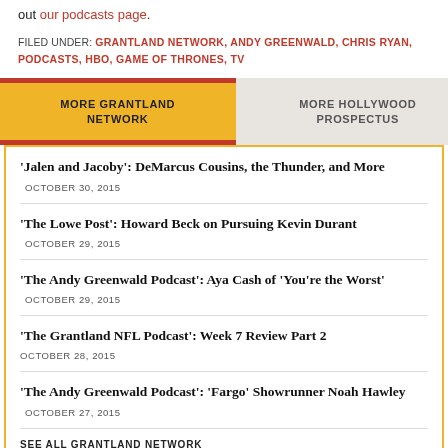out our podcasts page.
FILED UNDER: GRANTLAND NETWORK, ANDY GREENWALD, CHRIS RYAN, PODCASTS, HBO, GAME OF THRONES, TV
MORE GRANTLAND NETWORK
MORE HOLLYWOOD PROSPECTUS
'Jalen and Jacoby': DeMarcus Cousins, the Thunder, and More  OCTOBER 30, 2015
'The Lowe Post': Howard Beck on Pursuing Kevin Durant  OCTOBER 29, 2015
'The Andy Greenwald Podcast': Aya Cash of 'You're the Worst'  OCTOBER 29, 2015
'The Grantland NFL Podcast': Week 7 Review Part 2  OCTOBER 28, 2015
'The Andy Greenwald Podcast': 'Fargo' Showrunner Noah Hawley  OCTOBER 27, 2015
SEE ALL GRANTLAND NETWORK